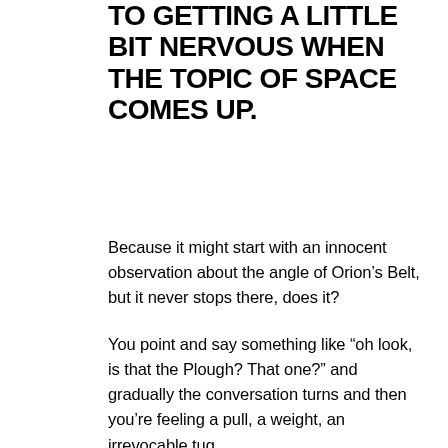TO GETTING A LITTLE BIT NERVOUS WHEN THE TOPIC OF SPACE COMES UP.
Because it might start with an innocent observation about the angle of Orion's Belt, but it never stops there, does it?
You point and say something like “oh look, is that the Plough? That one?” and gradually the conversation turns and then you’re feeling a pull, a weight, an irrevocable tug.
And that, my friend, is your mundane constellation sighting gently reminding you that it’s all so infinite and endless, and the stars you’re looking at don’t